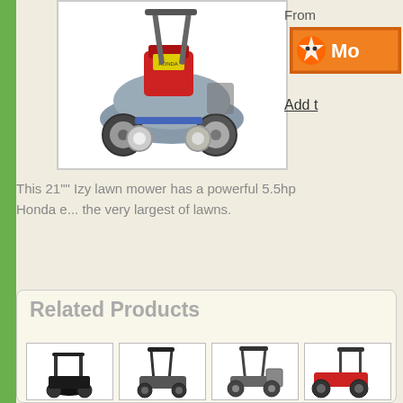[Figure (photo): Honda Izy 21-inch self-propelled lawn mower, grey body with red Honda engine, large rear wheels, shown against white background]
From
[Figure (logo): Orange retailer logo box with star/burst icon and text starting with 'Mo']
Add t
This 21"" Izy lawn mower has a powerful 5.5hp Honda e... the very largest of lawns.
Related Products
[Figure (photo): Small lawn mower product thumbnail 1 - black reel mower]
[Figure (photo): Small lawn mower product thumbnail 2 - push mower]
[Figure (photo): Small lawn mower product thumbnail 3 - mower with basket]
[Figure (photo): Small lawn mower product thumbnail 4 - partially visible red mower]